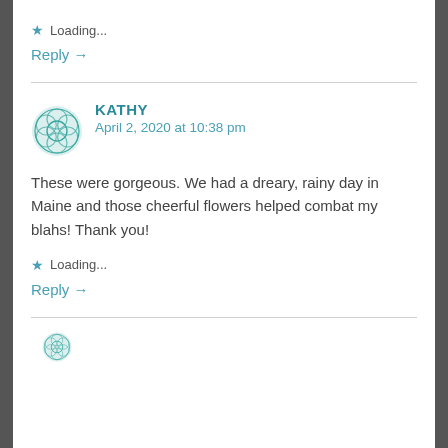Loading...
Reply →
KATHY
April 2, 2020 at 10:38 pm
These were gorgeous. We had a dreary, rainy day in Maine and those cheerful flowers helped combat my blahs! Thank you!
Loading...
Reply →